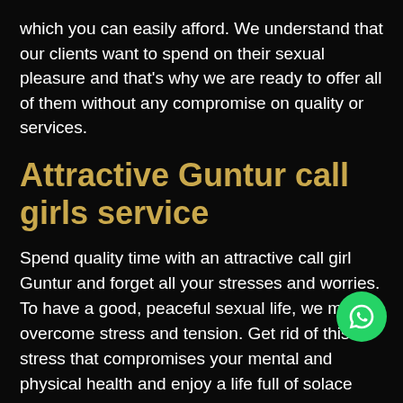which you can easily afford. We understand that our clients want to spend on their sexual pleasure and that's why we are ready to offer all of them without any compromise on quality or services.
Attractive Guntur call girls service
Spend quality time with an attractive call girl Guntur and forget all your stresses and worries. To have a good, peaceful sexual life, we must overcome stress and tension. Get rid of this stress that compromises your mental and physical health and enjoy a life full of solace with the most beautiful Guntur call girl. Our lives are filled with stress of one sort or another: family issues, work-related crises, the pressure of strict deadlines, and so on! A person cannot handle this stress alone. Our call girl services in Guntur will help you shed all the stressful situations with
[Figure (illustration): Green circular WhatsApp icon button with white phone/chat logo]